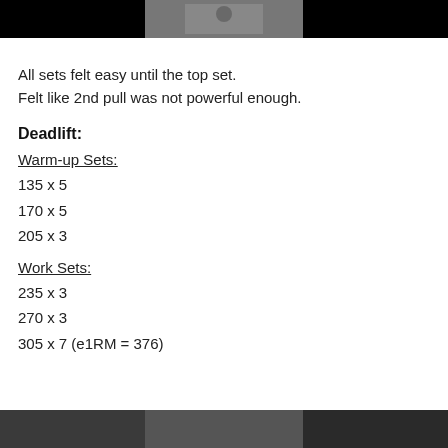[Figure (photo): Top portion of a photo, dark/black background with a center image panel showing a person or scene, partially cropped]
All sets felt easy until the top set.
Felt like 2nd pull was not powerful enough.
Deadlift:
Warm-up Sets:
135 x 5
170 x 5
205 x 3
Work Sets:
235 x 3
270 x 3
305 x 7 (e1RM = 376)
[Figure (photo): Bottom portion of photos, dark toned, three panel image strip partially visible at bottom of page]